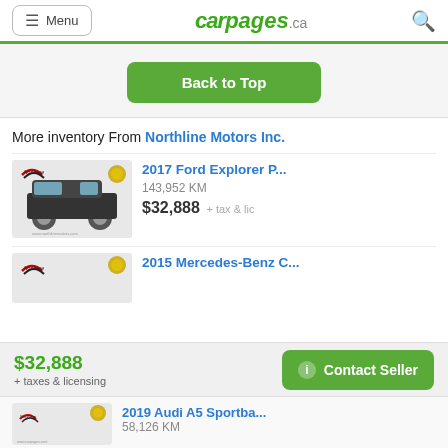Menu | carpages.ca
Back to Top
More inventory From Northline Motors Inc.
[Figure (photo): Thumbnail photo of a black 2017 Ford Explorer SUV with Northline Motors dealer logo and gold badge]
2017 Ford Explorer P...
143,952 KM
$32,888 + tax & lic
[Figure (photo): Thumbnail photo partially visible for 2015 Mercedes-Benz with Northline Motors logo]
2015 Mercedes-Benz C...
$32,888
+ taxes & licensing
Contact Seller
[Figure (photo): Thumbnail photo partially visible for 2019 Audi A5 Sportback with Northline Motors logo]
2019 Audi A5 Sportba...
58,126 KM